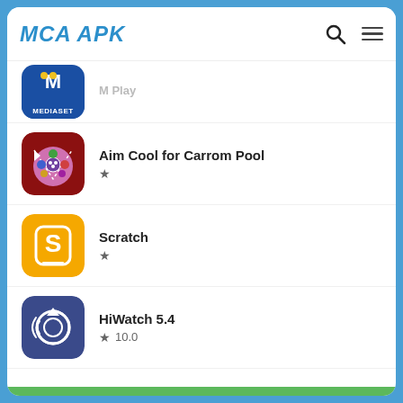MCA APK
[Figure (screenshot): Mediaset app icon - blue background with letter M and yellow dots, MEDIASET text at bottom (partially visible)]
Aim Cool for Carrom Pool
★
[Figure (screenshot): Aim Cool for Carrom Pool app icon - dark red background with billiard balls arrangement in circle]
Scratch
★
[Figure (screenshot): Scratch app icon - orange/yellow background with white S letter badge icon]
HiWatch 5.4
★ 10.0
[Figure (screenshot): HiWatch 5.4 app icon - dark blue/purple rounded square with white circular arrow icon]